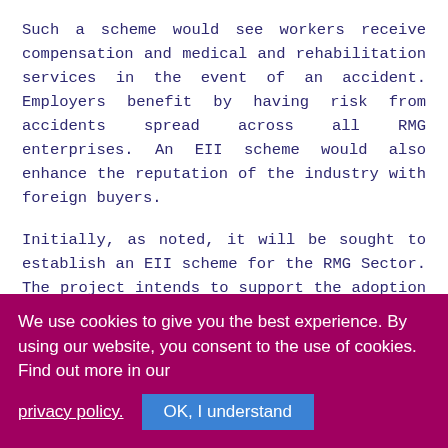Such a scheme would see workers receive compensation and medical and rehabilitation services in the event of an accident. Employers benefit by having risk from accidents spread across all RMG enterprises. An EII scheme would also enhance the reputation of the industry with foreign buyers.
Initially, as noted, it will be sought to establish an EII scheme for the RMG Sector. The project intends to support the adoption of a national and institutional legal framework and the establishment of the new public administration capacity that will extend coverage gradually to wage earners in the whole of Bangladesh. Specifically, the project foresees three distinct outcomes
We use cookies to give you the best experience. By using our website, you consent to the use of cookies. Find out more in our privacy policy. OK, I understand